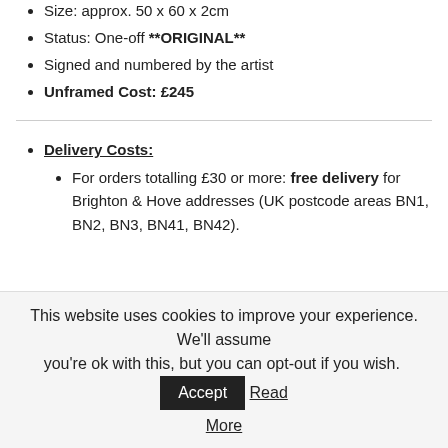Size: approx. 50 x 60 x 2cm
Status: One-off **ORIGINAL**
Signed and numbered by the artist
Unframed Cost: £245
Delivery Costs:
For orders totalling £30 or more: free delivery for Brighton & Hove addresses (UK postcode areas BN1, BN2, BN3, BN41, BN42).
This website uses cookies to improve your experience. We'll assume you're ok with this, but you can opt-out if you wish. Accept Read More